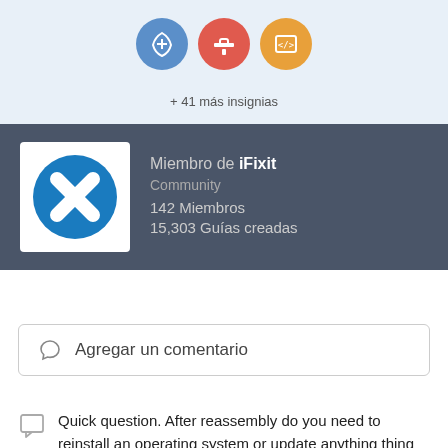[Figure (illustration): Three badge icons in circles (blue, red, orange) representing user achievements on iFixit]
+ 41 más insignias
[Figure (logo): iFixit community logo: blue circle with white X mark]
Miembro de iFixit
Community
142 Miembros
15,303 Guías creadas
Agregar un comentario
Quick question. After reassembly do you need to reinstall an operating system or update anything thing or does the hard drive just go oh look new stuff yeah that's fine.